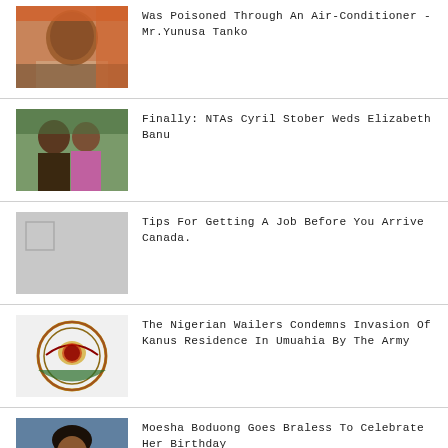Was Poisoned Through An Air-Conditioner - Mr.Yunusa Tanko
Finally: NTAs Cyril Stober Weds Elizabeth Banu
Tips For Getting A Job Before You Arrive Canada.
The Nigerian Wailers Condemns Invasion Of Kanus Residence In Umuahia By The Army
Moesha Boduong Goes Braless To Celebrate Her Birthday